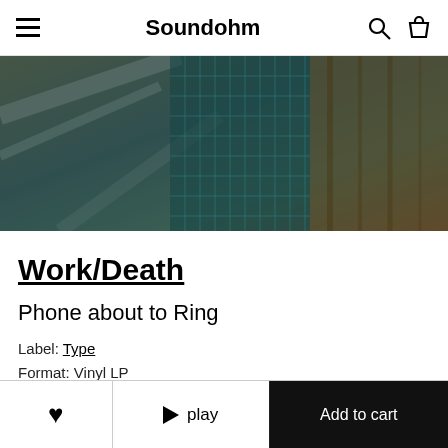Soundohm
[Figure (photo): Aerial or abstract teal/green and brown textured image used as a product hero banner]
Work/Death
Phone about to Ring
Label: Type
Format: Vinyl LP
Genre: Electronic
♥  ▶ play  Add to cart